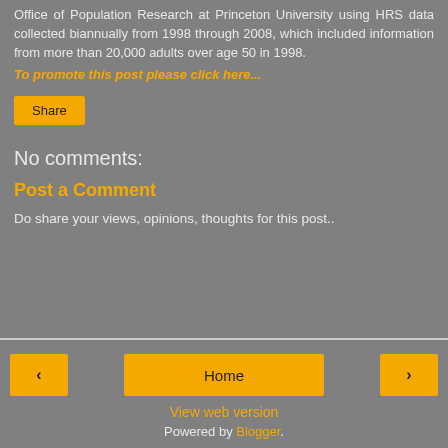Office of Population Research at Princeton University using HRS data collected biannually from 1998 through 2008, which included information from more than 20,000 adults over age 50 in 1998.
To promote this post please click here...
Share
No comments:
Post a Comment
Do share your views, opinions, thoughts for this post..
‹  Home  › View web version Powered by Blogger.